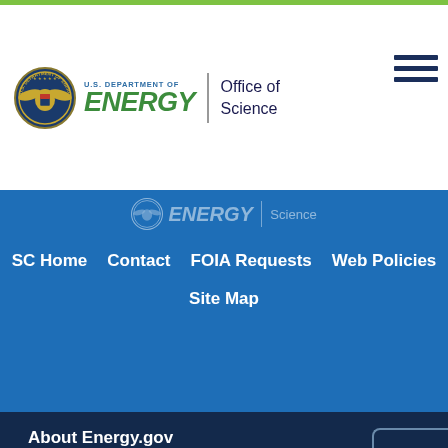[Figure (logo): U.S. Department of Energy Office of Science logo with DOE seal, green ENERGY text, and Office of Science text]
[Figure (logo): Hamburger menu icon (three horizontal lines)]
[Figure (logo): Partial DOE ENERGY Science watermark logo on blue banner]
SC Home   Contact   FOIA Requests   Web Policies   Site Map
About Energy.gov
Web Policies
Privacy
No Fear Act
Whistleblower Protection